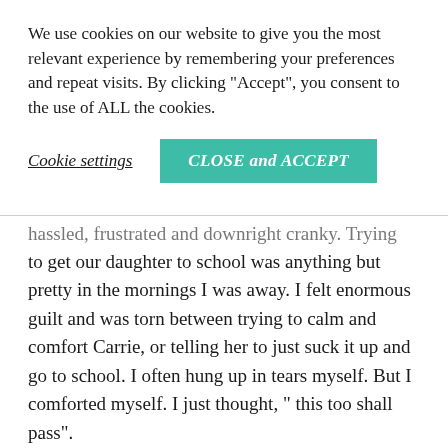We use cookies on our website to give you the most relevant experience by remembering your preferences and repeat visits. By clicking "Accept", you consent to the use of ALL the cookies.
Cookie settings   CLOSE and ACCEPT
hassled, frustrated and downright cranky. Trying to get our daughter to school was anything but pretty in the mornings I was away. I felt enormous guilt and was torn between trying to calm and comfort Carrie, or telling her to just suck it up and go to school. I often hung up in tears myself. But I comforted myself. I just thought, " this too shall pass".